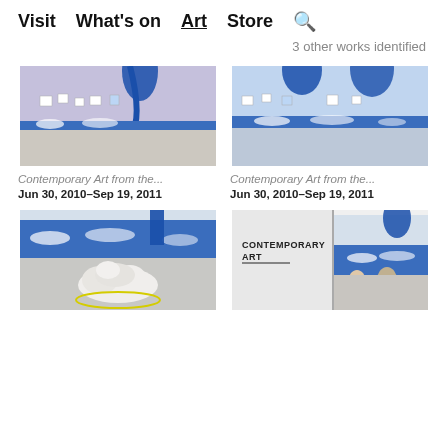Visit  What's on  Art  Store  🔍
3 other works identified
[Figure (photo): Gallery installation view with blue draped fabric hanging from ceiling, blue panoramic mural along wall, artwork and displays on purple/blue walls]
Contemporary Art from the...
Jun 30, 2010–Sep 19, 2011
[Figure (photo): Gallery installation view with blue draped fabric, blue sky mural along wall, bicycle and yellow cart visible in foreground]
Contemporary Art from the...
Jun 30, 2010–Sep 19, 2011
[Figure (photo): Gallery floor with large sculptural object made of white rounded forms and yellow circle on floor, blue sky mural in background]
[Figure (photo): Gallery entrance with 'CONTEMPORARY ART' text on wall, blue flag visible through doorway, blue mural and figures visible inside]